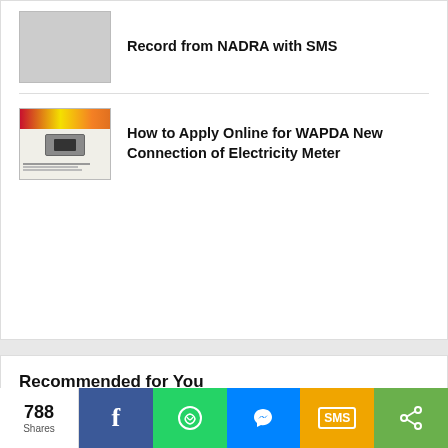Record from NADRA with SMS
How to Apply Online for WAPDA New Connection of Electricity Meter
Recommended for You
[Figure (photo): Campbell Crossing lendlease advertisement showing military family. Text: One community. One family. You belong.]
788 Shares